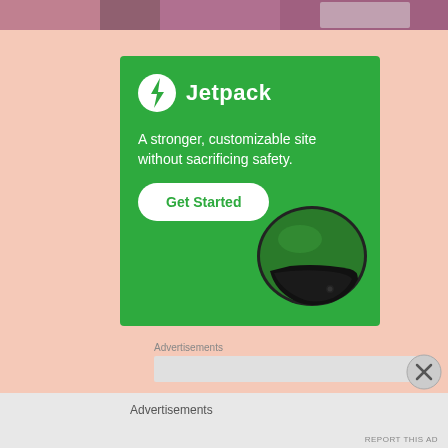[Figure (photo): Top strip of a webpage showing a partial purple/mauve image banner at the very top]
[Figure (infographic): Jetpack advertisement on green background. Shows Jetpack logo (lightning bolt in circle) with brand name, tagline 'A stronger, customizable site without sacrificing safety.', a 'Get Started' button, and a motorcycle helmet graphic.]
Advertisements
[Figure (other): Gray advertisement placeholder bar]
Advertisements
REPORT THIS AD